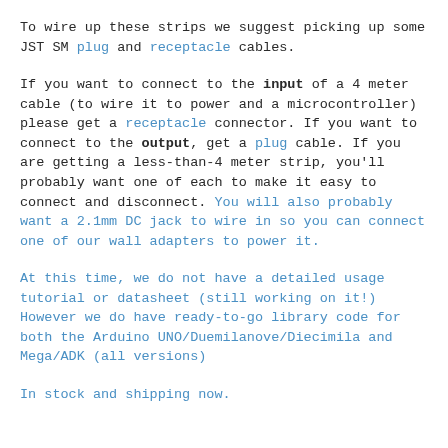To wire up these strips we suggest picking up some JST SM plug and receptacle cables.
If you want to connect to the input of a 4 meter cable (to wire it to power and a microcontroller) please get a receptacle connector. If you want to connect to the output, get a plug cable. If you are getting a less-than-4 meter strip, you'll probably want one of each to make it easy to connect and disconnect. You will also probably want a 2.1mm DC jack to wire in so you can connect one of our wall adapters to power it.
At this time, we do not have a detailed usage tutorial or datasheet (still working on it!) However we do have ready-to-go library code for both the Arduino UNO/Duemilanove/Diecimila and Mega/ADK (all versions)
In stock and shipping now.